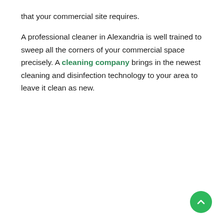that your commercial site requires.
A professional cleaner in Alexandria is well trained to sweep all the corners of your commercial space precisely. A cleaning company brings in the newest cleaning and disinfection technology to your area to leave it clean as new.